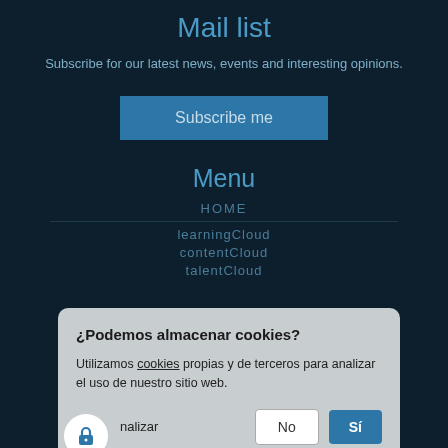Mail list
Subscribe for our latest news, events and interesting opinions.
Subscribe me
Menu
HOME
learningCloud
contentCloud
talentCloud
¿Podemos almacenar cookies?
Utilizamos cookies propias y de terceros para analizar el uso de nuestro sitio web.
personalizar
No
Sí
COMPANY